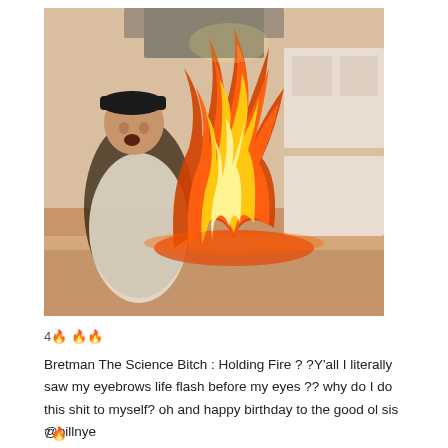[Figure (photo): A person standing in a kitchen with a large fire/flame in front of them, looking surprised. The fire is bright orange and yellow, filling most of the frame.]
4🔥 🔥🔥
Bretman The Science Bitch : Holding Fire ? ?Y'all I literally saw my eyebrows life flash before my eyes ?? why do I do this shit to myself? oh and happy birthday to the good ol sis @billnye
7🔥